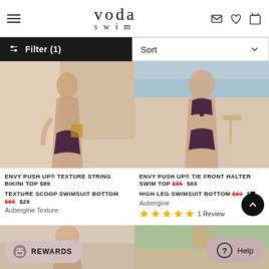voda swim
Filter (1)
Sort
[Figure (photo): Model wearing dark aubergine string bikini bottom and top, standing outdoors]
[Figure (photo): Model wearing dark aubergine tie front halter swim top and high leg bikini bottom, seated outdoors near water]
ENVY PUSH UP® TEXTURE STRING BIKINI TOP $89
TEXTURE SCOOP SWIMSUIT BOTTOM $69 $29
Aubergine Texture
ENVY PUSH UP® TIE FRONT HALTER SWIM TOP $85 $65
HIGH LEG SWIMSUIT BOTTOM $69 $...
Aubergine
★★★★★ 1 Review
[Figure (photo): Partial view of model in swimwear at bottom left]
[Figure (photo): Partial view of model in swimwear at bottom right]